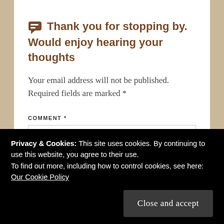Thank you for stopping by. Would enjoy hearing your thoughts
Your email address will not be published. Required fields are marked *
COMMENT *
Privacy & Cookies: This site uses cookies. By continuing to use this website, you agree to their use. To find out more, including how to control cookies, see here: Our Cookie Policy
Close and accept
NAME *